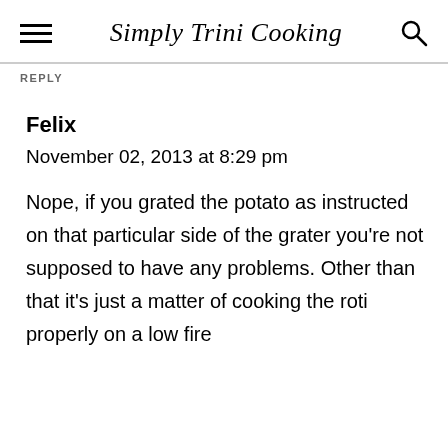Simply Trini Cooking
REPLY
Felix
November 02, 2013 at 8:29 pm
Nope, if you grated the potato as instructed on that particular side of the grater you're not supposed to have any problems. Other than that it's just a matter of cooking the roti properly on a low fire